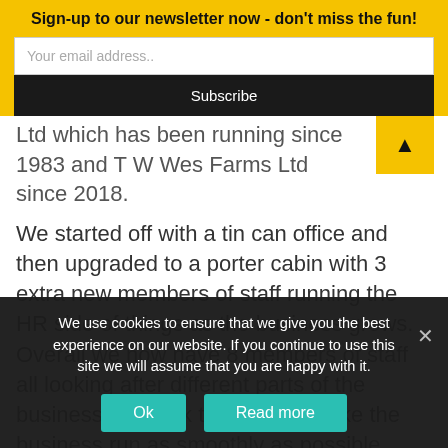Sign-up to our newsletter now - don't miss the fun!
Your email address..
Subscribe
Ltd which has been running since 1983 and T W Wes Farms Ltd since 2018.
We started off with a tin can office and then upgraded to a porter cabin with 3 extra new members of staff running the HR side of things as the business grows. Overall we now have 8 members of staff all looking after different parts of the business but work together to make the business run as smoothly as possible.
We use cookies to ensure that we give you the best experience on our website. If you continue to use this site we will assume that you are happy with it.
Ok
Read more